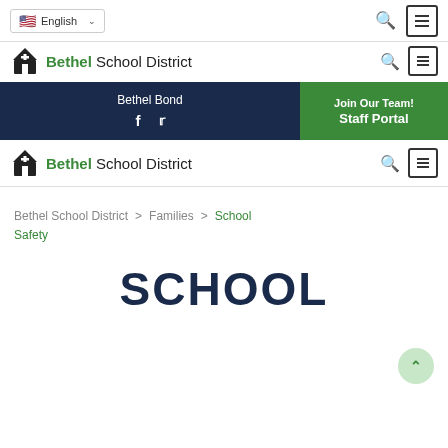English (language selector)
[Figure (logo): Bethel School District logo with church icon]
[Figure (infographic): Dark navy navigation banner with Bethel Bond link, Facebook and Twitter icons, and green Staff Portal button with Join Our Team text]
[Figure (logo): Bethel School District logo with church icon (second instance)]
Bethel School District > Families > School Safety
SCHOOL